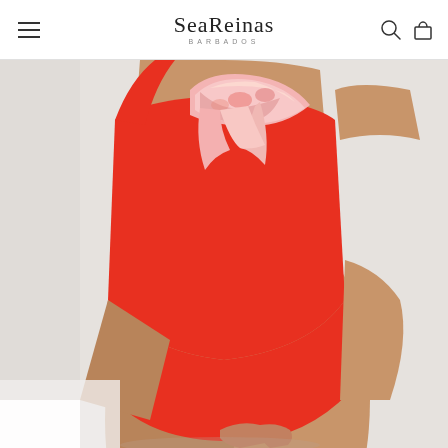SeaReinas BARBADOS
[Figure (photo): Model wearing a red one-piece swimsuit with a floral ruffle detail at the chest, photographed from mid-torso to thigh against a light grey/white background.]